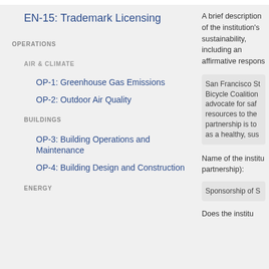EN-15: Trademark Licensing
OPERATIONS
AIR & CLIMATE
OP-1: Greenhouse Gas Emissions
OP-2: Outdoor Air Quality
BUILDINGS
OP-3: Building Operations and Maintenance
OP-4: Building Design and Construction
ENERGY
A brief description of the institution's sustainability, including an affirmative response:
San Francisco St... Bicycle Coalition... advocate for saf... resources to the... partnership is to... as a healthy, sus...
Name of the institu... partnership):
Sponsorship of S...
Does the institu...